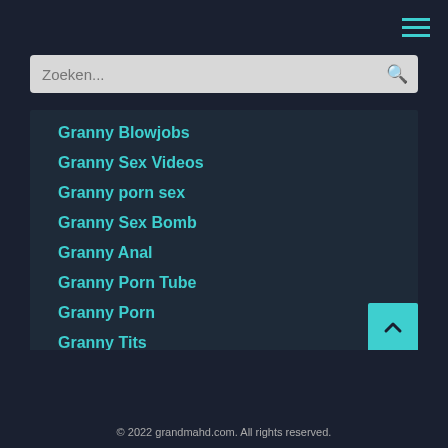[Figure (screenshot): Hamburger menu icon with three teal horizontal lines in top-right corner]
Zoeken...
Granny Blowjobs
Granny Sex Videos
Granny porn sex
Granny Sex Bomb
Granny Anal
Granny Porn Tube
Granny Porn
Granny Tits
granny blowjob
© 2022 grandmahd.com. All rights reserved.